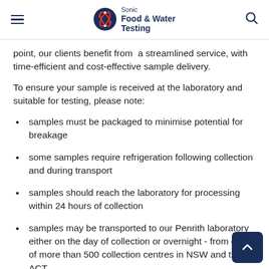Sonic Food & Water Testing
point, our clients benefit from  a streamlined service, with time-efficient and cost-effective sample delivery.
To ensure your sample is received at the laboratory and suitable for testing, please note:
samples must be packaged to minimise potential for breakage
some samples require refrigeration following collection and during transport
samples should reach the laboratory for processing within 24 hours of collection
samples may be transported to our Penrith laboratory either on the day of collection or overnight - from one of more than 500 collection centres in NSW and the ACT.